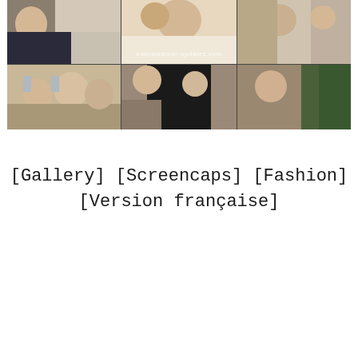[Figure (photo): A photo collage arranged in a 3x2 grid showing multiple people at what appears to be a conference or event. The images include selfies and candid shots with people wearing lanyards/badges. A watermark reads 'emmawatson-updates.com'. The center-bottom area contains a dark-clothed figure.]
[Gallery] [Screencaps] [Fashion]
[Version française]